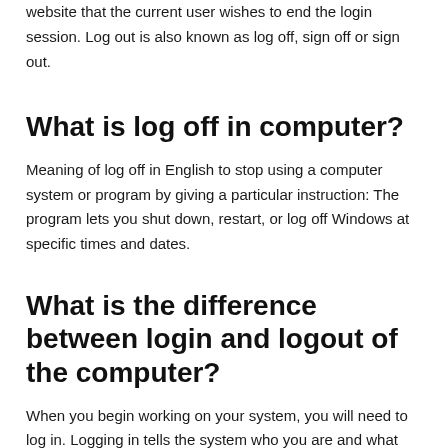website that the current user wishes to end the login session. Log out is also known as log off, sign off or sign out.
What is log off in computer?
Meaning of log off in English to stop using a computer system or program by giving a particular instruction: The program lets you shut down, restart, or log off Windows at specific times and dates.
What is the difference between login and logout of the computer?
When you begin working on your system, you will need to log in. Logging in tells the system who you are and what you have permission to do. Likewise, when you finish, you